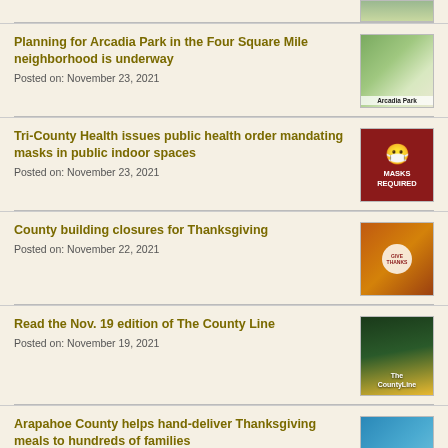[Figure (photo): Partial aerial/landscape photo at top of page]
Planning for Arcadia Park in the Four Square Mile neighborhood is underway
Posted on: November 23, 2021
[Figure (photo): Aerial map rendering of Arcadia Park with label 'Arcadia Park']
Tri-County Health issues public health order mandating masks in public indoor spaces
Posted on: November 23, 2021
[Figure (photo): Red background image with mask icon and text MASKS REQUIRED]
County building closures for Thanksgiving
Posted on: November 22, 2021
[Figure (photo): Thanksgiving-themed photo with round badge in center]
Read the Nov. 19 edition of The County Line
Posted on: November 19, 2021
[Figure (photo): The County Line newsletter cover with sunset/trees background]
Arapahoe County helps hand-deliver Thanksgiving meals to hundreds of families
Posted on: November 18, 2021
[Figure (photo): Teal/blue bags with paper list, Thanksgiving meals delivery photo]